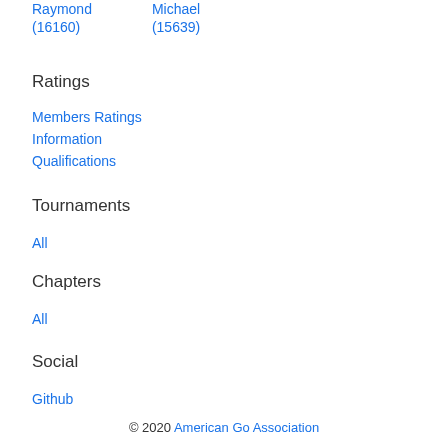Raymond (16160)
Michael (15639)
Ratings
Members Ratings
Information
Qualifications
Tournaments
All
Chapters
All
Social
Github
© 2020 American Go Association